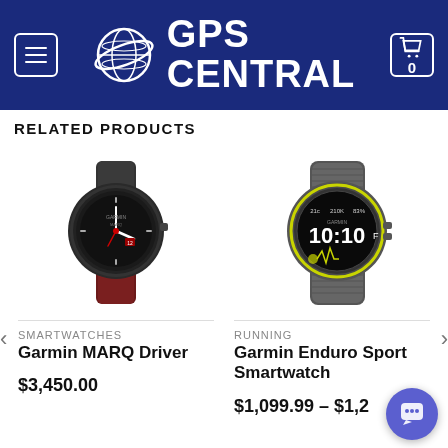[Figure (logo): GPS Central logo with globe icon on dark blue header background with menu button and cart icon]
RELATED PRODUCTS
[Figure (photo): Garmin MARQ Driver smartwatch with dark case and red/dark bracelet]
SMARTWATCHES
Garmin MARQ Driver
$3,450.00
[Figure (photo): Garmin Enduro Sport Smartwatch with grey nylon band showing 10:10 on display]
RUNNING
Garmin Enduro Sport Smartwatch
$1,099.99 – $1,2...